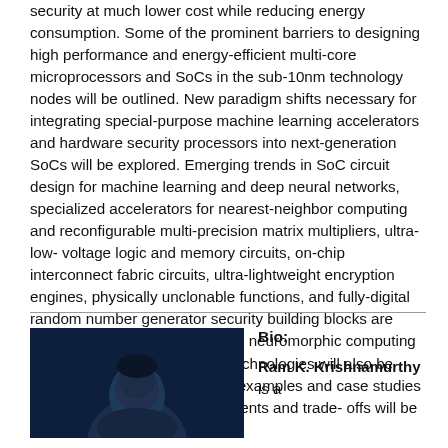security at much lower cost while reducing energy consumption. Some of the prominent barriers to designing high performance and energy-efficient multi-core microprocessors and SoCs in the sub-10nm technology nodes will be outlined. New paradigm shifts necessary for integrating special-purpose machine learning accelerators and hardware security processors into next-generation SoCs will be explored. Emerging trends in SoC circuit design for machine learning and deep neural networks, specialized accelerators for nearest-neighbor computing and reconfigurable multi-precision matrix multipliers, ultra-low-voltage logic and memory circuits, on-chip interconnect fabric circuits, ultra-lightweight encryption engines, physically unclonable functions, and fully-digital random number generator security building blocks are described. Future brain-inspired neuromorphic computing circuit design challenges and technologies will also be reviewed. Specific chip design examples and case studies supported by silicon measurements and trade-offs will be discussed.
[Figure (photo): Portrait photo of Ram K. Krishnamurthy against dark blue background]
Bio: Ram K. Krishnamurthy is a